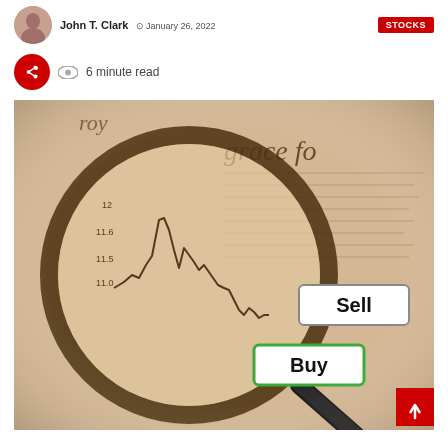John T. Clark · January 26, 2022 · STOCKS
6 minute read
[Figure (photo): A magnifying glass over a stock market chart on aged newspaper, with 'Buy' and 'Sell' labeled buttons visible, sepia-toned image]